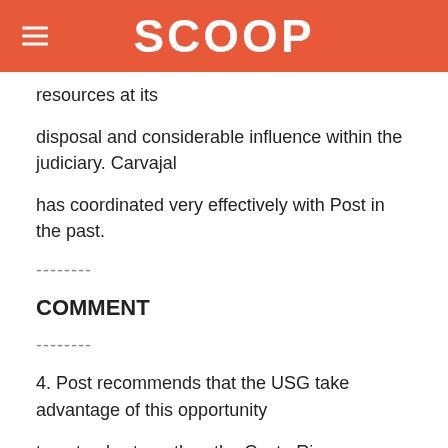SCOOP
resources at its
disposal and considerable influence within the judiciary. Carvajal
has coordinated very effectively with Post in the past.
--------
COMMENT
--------
4. Post recommends that the USG take advantage of this opportunity
to not only strengthen the Costa Rican judiciary in general but
also to address the training issues of concern to the USG.